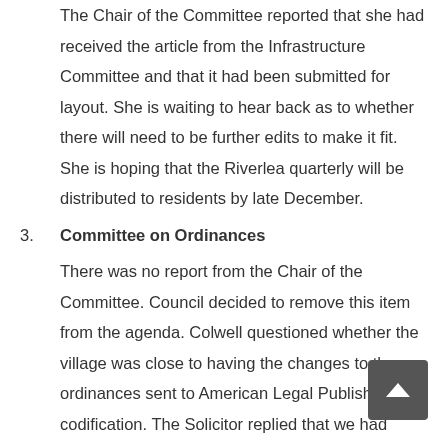The Chair of the Committee reported that she had received the article from the Infrastructure Committee and that it had been submitted for layout. She is waiting to hear back as to whether there will need to be further edits to make it fit. She is hoping that the Riverlea quarterly will be distributed to residents by late December.
3. Committee on Ordinances
There was no report from the Chair of the Committee. Council decided to remove this item from the agenda. Colwell questioned whether the village was close to having the changes to the ordinances sent to American Legal Publishing for codification. The Solicitor replied that we had